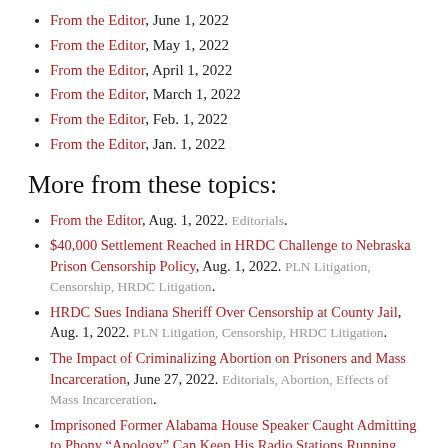From the Editor, June 1, 2022
From the Editor, May 1, 2022
From the Editor, April 1, 2022
From the Editor, March 1, 2022
From the Editor, Feb. 1, 2022
From the Editor, Jan. 1, 2022
More from these topics:
From the Editor, Aug. 1, 2022. Editorials.
$40,000 Settlement Reached in HRDC Challenge to Nebraska Prison Censorship Policy, Aug. 1, 2022. PLN Litigation, Censorship, HRDC Litigation.
HRDC Sues Indiana Sheriff Over Censorship at County Jail, Aug. 1, 2022. PLN Litigation, Censorship, HRDC Litigation.
The Impact of Criminalizing Abortion on Prisoners and Mass Incarceration, June 27, 2022. Editorials, Abortion, Effects of Mass Incarceration.
Imprisoned Former Alabama House Speaker Caught Admitting to Phony “Apology” Can Keep His Radio Stations Running, June 15, 2022. Media.
Organization Created Platform to Log Police Misconduct in North Carolina, June 15, 2022. Media, Police Accountability.